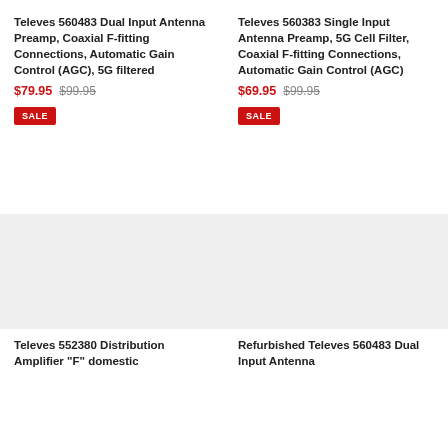Televes 560483 Dual Input Antenna Preamp, Coaxial F-fitting Connections, Automatic Gain Control (AGC), 5G filtered
$79.95  $99.95  SALE
Televes 560383 Single Input Antenna Preamp, 5G Cell Filter, Coaxial F-fitting Connections, Automatic Gain Control (AGC)
$69.95  $99.95  SALE
[Figure (photo): Product image placeholder for Televes 552380 Distribution Amplifier]
Televes 552380 Distribution Amplifier "F" domestic
[Figure (photo): Product image placeholder for Refurbished Televes 560483 Dual Input Antenna]
Refurbished Televes 560483 Dual Input Antenna